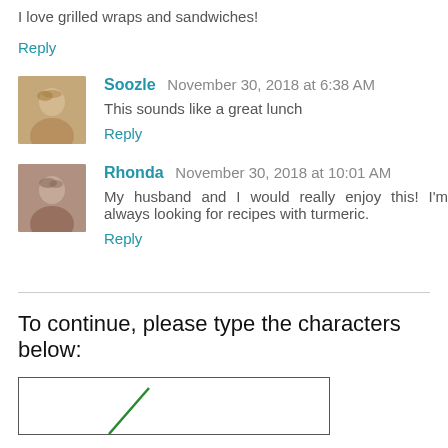I love grilled wraps and sandwiches!
Reply
Soozle   November 30, 2018 at 6:38 AM
This sounds like a great lunch
Reply
Rhonda   November 30, 2018 at 10:01 AM
My husband and I would really enjoy this! I'm always looking for recipes with turmeric.
Reply
To continue, please type the characters below:
[Figure (other): CAPTCHA image box with a green diagonal line/mark visible at the bottom]